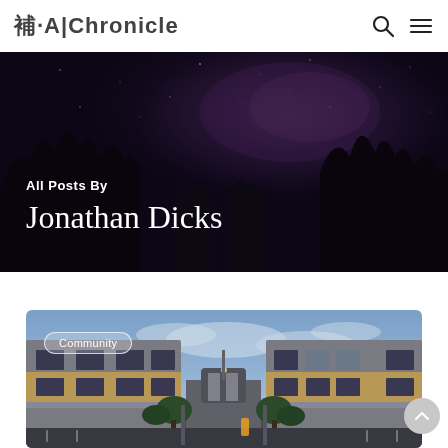JA Chronicle
[Figure (photo): Dark night sky with Milky Way visible above silhouetted trees, serving as hero banner background]
All Posts By
Jonathan Dicks
[Figure (photo): Exterior photo of apartment buildings at dusk with a courtyard and gate visible between two multi-story tan and grey buildings]